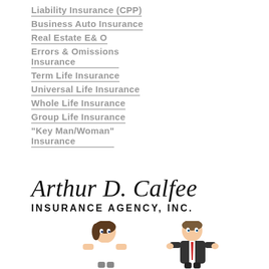Liability Insurance (CPP)
Business Auto Insurance
Real Estate E& O
Errors & Omissions Insurance
Term Life Insurance
Universal Life Insurance
Whole Life Insurance
Group Life Insurance
"Key Man/Woman" Insurance
[Figure (logo): Arthur D. Calfee Insurance Agency, Inc. logo with script and sans-serif text]
[Figure (illustration): Two cartoon bobblehead-style figures: a woman in white shirt and a man in a suit with red tie]